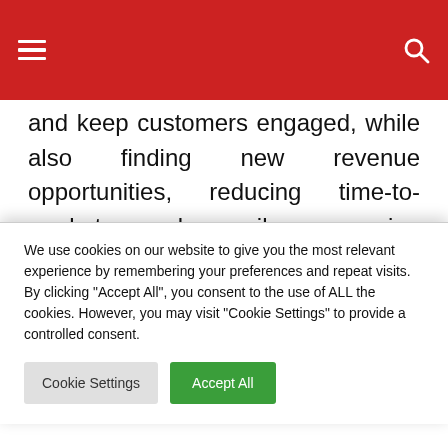and keep customers engaged, while also finding new revenue opportunities, reducing time-to-market, and easily managing compliance and clearance for synthetic voice content.

“Veritone MARVEL.ai is a natural extension of
We use cookies on our website to give you the most relevant experience by remembering your preferences and repeat visits. By clicking “Accept All”, you consent to the use of ALL the cookies. However, you may visit "Cookie Settings" to provide a controlled consent.